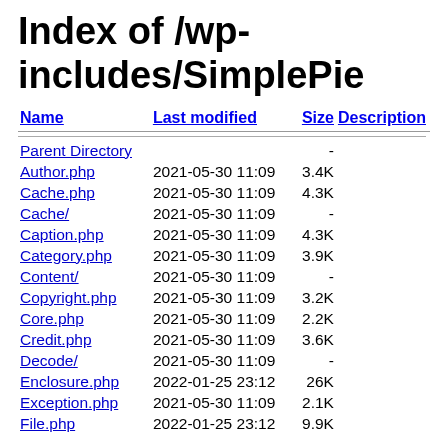Index of /wp-includes/SimplePie
| Name | Last modified | Size | Description |
| --- | --- | --- | --- |
| Parent Directory |  | - |  |
| Author.php | 2021-05-30 11:09 | 3.4K |  |
| Cache.php | 2021-05-30 11:09 | 4.3K |  |
| Cache/ | 2021-05-30 11:09 | - |  |
| Caption.php | 2021-05-30 11:09 | 4.3K |  |
| Category.php | 2021-05-30 11:09 | 3.9K |  |
| Content/ | 2021-05-30 11:09 | - |  |
| Copyright.php | 2021-05-30 11:09 | 3.2K |  |
| Core.php | 2021-05-30 11:09 | 2.2K |  |
| Credit.php | 2021-05-30 11:09 | 3.6K |  |
| Decode/ | 2021-05-30 11:09 | - |  |
| Enclosure.php | 2022-01-25 23:12 | 26K |  |
| Exception.php | 2021-05-30 11:09 | 2.1K |  |
| File.php | 2022-01-25 23:12 | 9.9K |  |